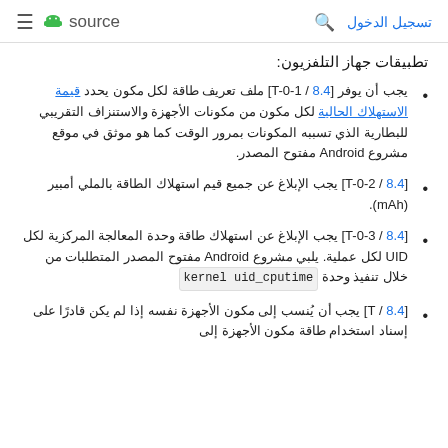source  [menu] [search] تسجيل الدخول
تطبيقات جهاز التلفزيون:
[8.4 / T-0-1] ملف تعريف طاقة لكل مكون يحدد قيمة الاستهلاك الحالية لكل مكون من مكونات الأجهزة والاستنزاف التقريبي للبطارية الذي تسببه المكونات بمرور الوقت كما هو موثق في موقع مشروع Android مفتوح المصدر.
[8.4 / T-0-2] يجب الإبلاغ عن جميع قيم استهلاك الطاقة بالملي أمبير (mAh).
[8.4 / T-0-3] يجب الإبلاغ عن استهلاك طاقة وحدة المعالجة المركزية لكل UID لكل عملية. يلبي مشروع Android مفتوح المصدر المتطلبات من خلال تنفيذ وحدة kernel uid_cputime.
[8.4 / T] يجب أن يُنسب إلى مكون الأجهزة نفسه إذا لم يكن قادرًا على إسناد استخدام طاقة مكون الأجهزة إلى